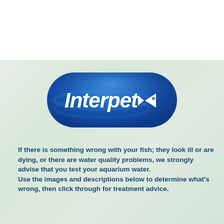[Figure (logo): Interpet brand logo — white rounded rectangle pill shape with a deep blue gradient fill, white text 'Interpet' in bold italic sans-serif, and a white angular fish icon to the right of the text]
If there is something wrong with your fish; they look ill or are dying, or there are water quality problems, we strongly advise that you test your aquarium water.
Use the images and descriptions below to determine what's wrong, then click through for treatment advice.